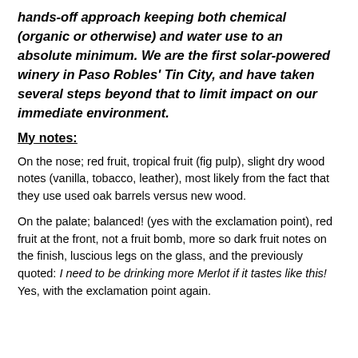hands-off approach keeping both chemical (organic or otherwise) and water use to an absolute minimum. We are the first solar-powered winery in Paso Robles' Tin City, and have taken several steps beyond that to limit impact on our immediate environment.
My notes:
On the nose; red fruit, tropical fruit (fig pulp), slight dry wood notes (vanilla, tobacco, leather), most likely from the fact that they use used oak barrels versus new wood.
On the palate; balanced! (yes with the exclamation point), red fruit at the front, not a fruit bomb, more so dark fruit notes on the finish, luscious legs on the glass, and the previously quoted: I need to be drinking more Merlot if it tastes like this! Yes, with the exclamation point again.